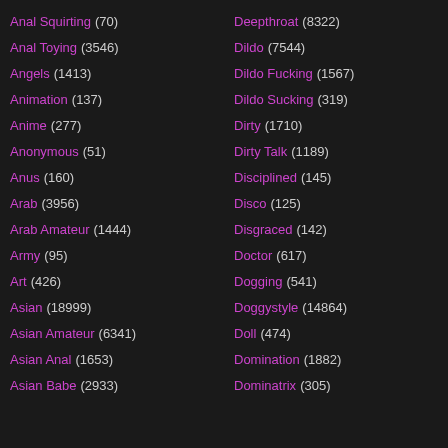Anal Squirting (70)
Anal Toying (3546)
Angels (1413)
Animation (137)
Anime (277)
Anonymous (51)
Anus (160)
Arab (3956)
Arab Amateur (1444)
Army (95)
Art (426)
Asian (18999)
Asian Amateur (6341)
Asian Anal (1653)
Asian Babe (2933)
Deepthroat (8322)
Dildo (7544)
Dildo Fucking (1567)
Dildo Sucking (319)
Dirty (1710)
Dirty Talk (1189)
Disciplined (145)
Disco (125)
Disgraced (142)
Doctor (617)
Dogging (541)
Doggystyle (14864)
Doll (474)
Domination (1882)
Dominatrix (305)